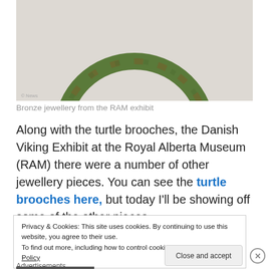[Figure (photo): Bronze ring/jewellery artifact with green patina on light background, partially shown]
Bronze jewellery from the RAM exhibit
Along with the turtle brooches, the Danish Viking Exhibit at the Royal Alberta Museum (RAM) there were a number of other jewellery pieces. You can see the turtle brooches here, but today I'll be showing off some of the other pieces.
Privacy & Cookies: This site uses cookies. By continuing to use this website, you agree to their use.
To find out more, including how to control cookies, see here: Cookie Policy
Close and accept
Advertisements